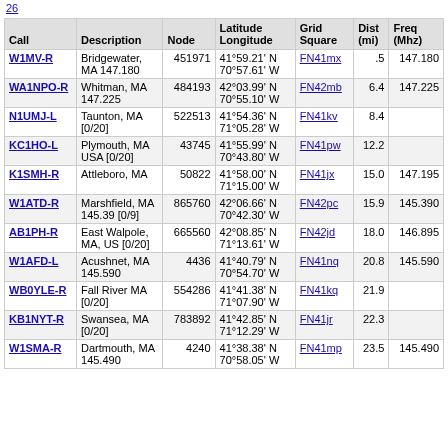26
| Call | Description | Node | Latitude Longitude | Grid Square | Dist (mi) | Freq (Mhz) |
| --- | --- | --- | --- | --- | --- | --- |
| W1MV-R | Bridgewater, MA 147.180 | 451971 | 41°59.21' N 70°57.61' W | FN41mx | .5 | 147.180 |
| WA1NPO-R | Whitman, MA 147.225 | 484193 | 42°03.99' N 70°55.10' W | FN42mb | 6.4 | 147.225 |
| N1UMJ-L | Taunton, MA [0/20] | 522513 | 41°54.36' N 71°05.28' W | FN41kv | 8.4 |  |
| KC1HO-L | Plymouth, MA USA [0/20] | 43745 | 41°55.99' N 70°43.80' W | FN41pw | 12.2 |  |
| K1SMH-R | Attleboro, MA | 50822 | 41°58.00' N 71°15.00' W | FN41jx | 15.0 | 147.195 |
| W1ATD-R | Marshfield, MA 145.39 [0/9] | 865760 | 42°06.66' N 70°42.30' W | FN42pc | 15.9 | 145.390 |
| AB1PH-R | East Walpole, MA, US [0/20] | 665560 | 42°08.85' N 71°13.61' W | FN42jd | 18.0 | 146.895 |
| W1AFD-L | Acushnet, MA 145.590 | 4436 | 41°40.79' N 70°54.70' W | FN41nq | 20.8 | 145.590 |
| WB0YLE-R | Fall River MA [0/20] | 554286 | 41°41.38' N 71°07.90' W | FN41kq | 21.9 |  |
| KB1NYT-R | Swansea, MA [0/20] | 783892 | 41°42.85' N 71°12.29' W | FN41jr | 22.3 |  |
| W1SMA-R | Dartmouth, MA 145.490 | 4240 | 41°38.38' N 70°58.05' W | FN41mp | 23.5 | 145.490 |